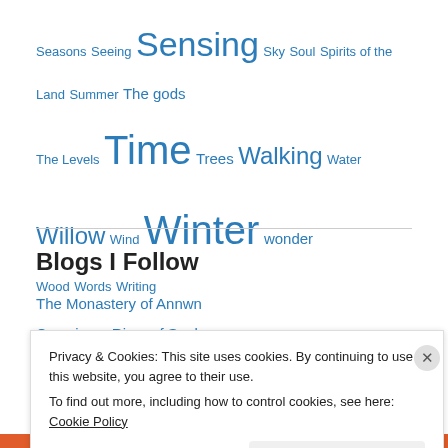Seasons Seeing Sensing Sky Soul Spirits of the Land Summer The gods The Levels Time Trees Walking Water Willow Wind Winter wonder Wood Words Writing
Blogs I Follow
The Monastery of Annwn
Crossing a River of Souls
Life With Trickster Gods
Shorts Magazine
AWENYDD
Wild Mammal Persecution UK
Privacy & Cookies: This site uses cookies. By continuing to use this website, you agree to their use. To find out more, including how to control cookies, see here: Cookie Policy
Close and accept